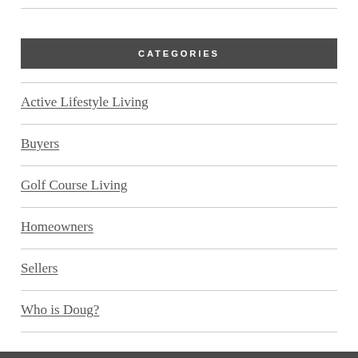CATEGORIES
Active Lifestyle Living
Buyers
Golf Course Living
Homeowners
Sellers
Who is Doug?